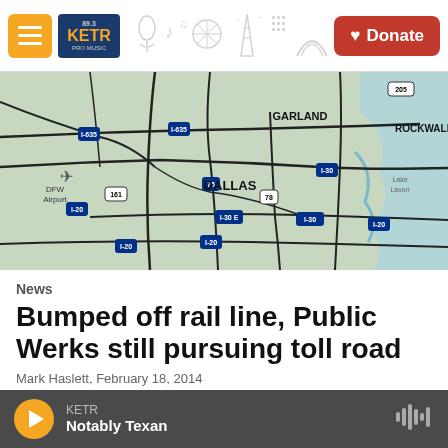KETR Radio - Navigation bar with hamburger menu, KETR logo, decorative illustrations, and Donate button
[Figure (map): Road map of the Dallas-Fort Worth area showing major highways including I-30, I-20, I-635, I-75, US-78, US-205, and labeled cities including Dallas, Garland, Rockwall, and DFW Airport. Blue water feature visible on right side.]
News
Bumped off rail line, Public Werks still pursuing toll road
Mark Haslett, February 18, 2014
The chances for a toll road being built along the old railroad right-of-way between Greenville and Lavon
KETR — Notably Texan (audio player)